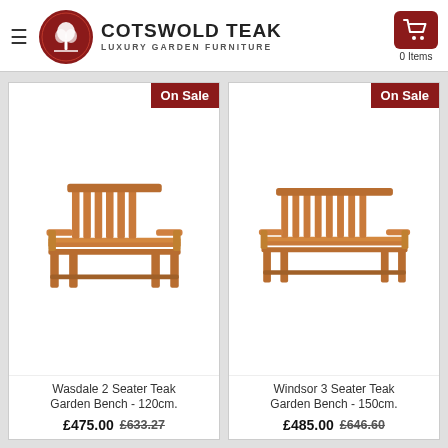COTSWOLD TEAK LUXURY GARDEN FURNITURE
[Figure (photo): Wasdale 2 Seater Teak Garden Bench with On Sale badge]
[Figure (photo): Windsor 3 Seater Teak Garden Bench with On Sale badge]
Wasdale 2 Seater Teak Garden Bench - 120cm.
£475.00 £633.27
Windsor 3 Seater Teak Garden Bench - 150cm.
£485.00 £646.60